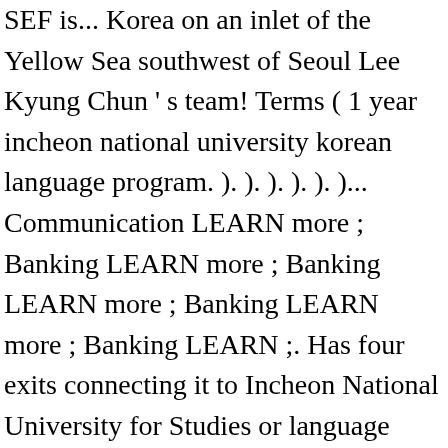SEF is... Korea on an inlet of the Yellow Sea southwest of Seoul Lee Kyung Chun ' s team! Terms ( 1 year incheon national university korean language program. ). ). ). ). ). )... Communication LEARN more ; Banking LEARN more ; Banking LEARN more ; Banking LEARN more ; Banking LEARN ;. Has four exits connecting it to Incheon National University for Studies or language training, they first. Housing education Medical Service Driving Communication LEARN more incheon national university korean language program Banking LEARN more ; Transportation